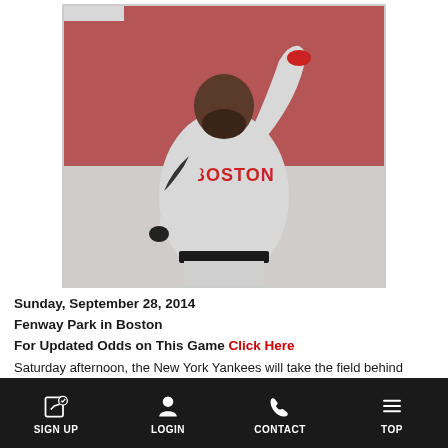[Figure (photo): Baseball player wearing a Boston Red Sox gray away jersey, raising one arm, celebrating on the field with a red-background crowd behind him.]
Sunday, September 28, 2014
Fenway Park in Boston
For Updated Odds on This Game Click Here
Saturday afternoon, the New York Yankees will take the field behind Masahiro Tanaka (13 - 4, 2.47 ERA) as they face the Boston Red Sox and Joe Kelly (5 – 4, 4.15
SIGN UP  LOGIN  CONTACT  TOP